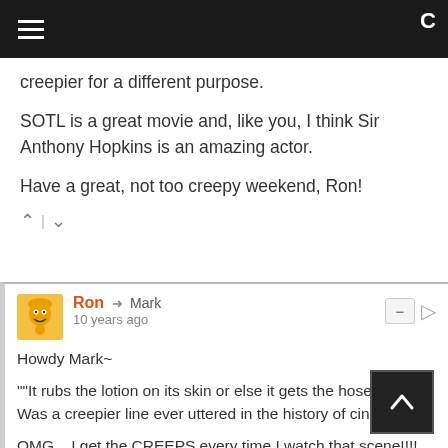creepier for a different purpose.
SOTL is a great movie and, like you, I think Sir Anthony Hopkins is an amazing actor.
Have a great, not too creepy weekend, Ron!
Ron → Mark
10 years ago

Howdy Mark~

""It rubs the lotion on its skin or else it gets the hose again." Was a creepier line ever uttered in the history of cinema?"

OMG....I get the CREEPS every time I watch that scene!!!! He was soooooooo good in that role.

"SOTL is a great movie and, like you, I think Sir Anthony Hopkins is an amazing actor."